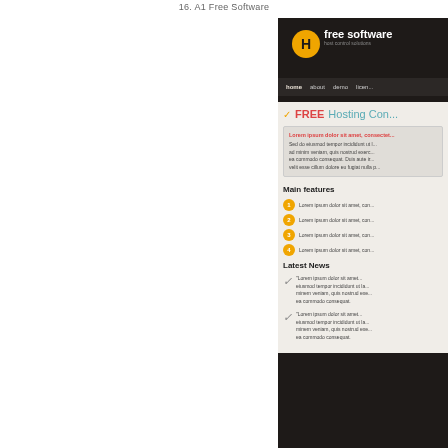16. A1 Free Software
[Figure (screenshot): Screenshot of a website called 'free software - host control solutions'. Dark background header with orange H logo. Navigation bar with home, about, demo, licen... links. Content area on light beige background showing 'FREE Hosting Con...' heading with checkmark, an intro text box with Lorem ipsum content in red title, body text. 'Main features' section with 4 numbered orange circle items each saying 'Lorem ipsum dolor sit amet, con...'. 'Latest News' section with 2 items each with italic checkmark icon and Lorem ipsum paragraph text.]